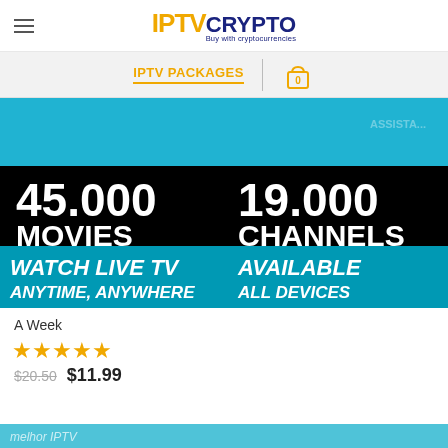[Figure (logo): IPTV CRYPTO logo with hamburger menu. IPTV in orange/gold, CRYPTO in dark navy blue, subtitle: Buy with cryptocurrencies]
IPTV PACKAGES | 0
[Figure (infographic): IPTV service banner showing: 45.000 MOVIES, 19.000 CHANNELS, WATCH LIVE TV ANYTIME, ANYWHERE, AVAILABLE ALL DEVICES on blue/black background]
A Week
[Figure (infographic): 5 gold stars rating]
$20.50  $11.99